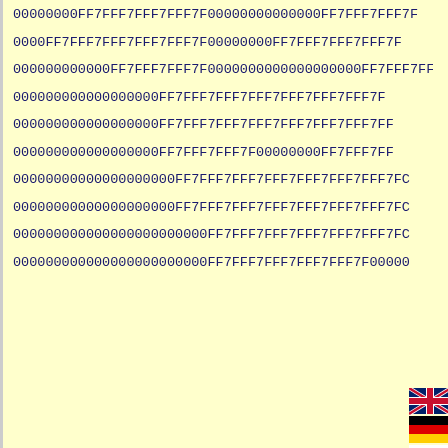00000000FF7FFF7FFF7FFF7F00000000000000FF7FFF7FFF7F
0000FF7FFF7FFF7FFF7FFF7F00000000FF7FFF7FFF7FFF7F
000000000000FF7FFF7FFF7F0000000000000000000FF7FFF7FF
000000000000000000FF7FFF7FFF7FFF7FFF7FFF7FFF7F
000000000000000000FF7FFF7FFF7FFF7FFF7FFF7FFF7FF
000000000000000000FF7FFF7FFF7F00000000FF7FFF7FF
00000000000000000000FF7FFF7FFF7FFF7FFF7FFF7FFF7FC
00000000000000000000FF7FFF7FFF7FFF7FFF7FFF7FFF7FC
000000000000000000000000FF7FFF7FFF7FFF7FFF7FFF7FC
000000000000000000000000FF7FFF7FFF7FFF7FFF7F00000
[Figure (illustration): Small flag icons for UK, Germany, Russia, Armenia/unknown, and Ukraine stacked vertically on the right side]